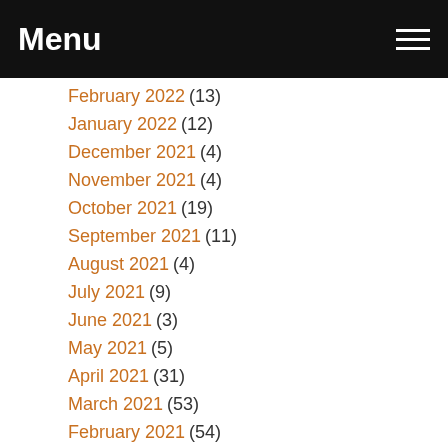Menu
February 2022 (13)
January 2022 (12)
December 2021 (4)
November 2021 (4)
October 2021 (19)
September 2021 (11)
August 2021 (4)
July 2021 (9)
June 2021 (3)
May 2021 (5)
April 2021 (31)
March 2021 (53)
February 2021 (54)
January 2021 (54)
December 2020 (61)
November 2020 (56)
October 2020 (33)
September 2020 (23)
August 2020 (27)